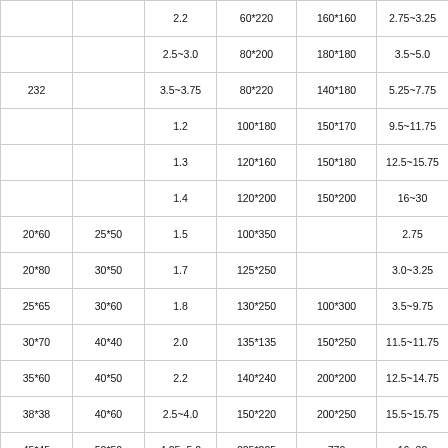|  |  | 2.2 | 60*220 | 160*160 | 2.75~3.25 |
|  |  | 2.5~3.0 | 80*200 | 180*180 | 3.5~5.0 |
| 232 |  | 3.5~3.75 | 80*220 | 140*180 | 5.25~7.75 |
|  |  | 1.2 | 100*180 | 150*170 | 9.5~11.75 |
|  |  | 1.3 | 120*160 | 150*180 | 12.5~15.75 |
|  |  | 1.4 | 120*200 | 150*200 | 16~30 |
| 20*60 | 25*50 | 1.5 | 100*350 |  | 2.75 |
| 20*80 | 30*50 | 1.7 | 125*250 |  | 3.0~3.25 |
| 25*65 | 30*60 | 1.8 | 130*250 | 100*300 | 3.5~9.75 |
| 30*70 | 40*40 | 2.0 | 135*135 | 150*250 | 11.5~11.75 |
| 35*60 | 40*50 | 2.2 | 140*240 | 200*200 | 12.5~14.75 |
| 38*38 | 40*60 | 2.5~4.0 | 150*220 | 200*250 | 15.5~15.75 |
| 45*45 | 50*50 | 4.25~5.0 | 225*225 | 770 | 16~30 |